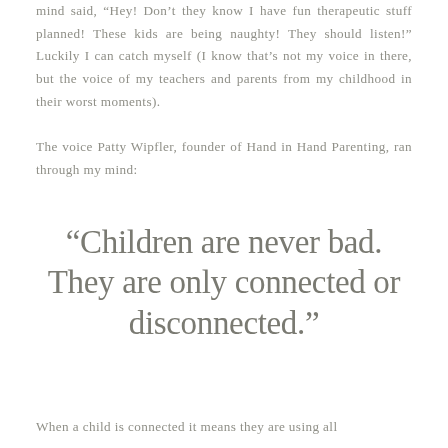mind said, “Hey! Don’t they know I have fun therapeutic stuff planned! These kids are being naughty! They should listen!” Luckily I can catch myself (I know that’s not my voice in there, but the voice of my teachers and parents from my childhood in their worst moments).

The voice Patty Wipfler, founder of Hand in Hand Parenting, ran through my mind:
“Children are never bad. They are only connected or disconnected.”
When a child is connected it means they are using all